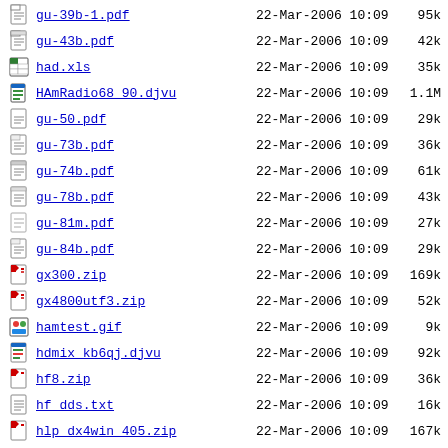gu-39b-1.pdf  22-Mar-2006 10:09  95k
gu-43b.pdf  22-Mar-2006 10:09  42k
had.xls  22-Mar-2006 10:09  35k
HAmRadio68_90.djvu  22-Mar-2006 10:09  1.1M
gu-50.pdf  22-Mar-2006 10:09  29k
gu-73b.pdf  22-Mar-2006 10:09  36k
gu-74b.pdf  22-Mar-2006 10:09  61k
gu-78b.pdf  22-Mar-2006 10:09  43k
gu-81m.pdf  22-Mar-2006 10:09  27k
gu-84b.pdf  22-Mar-2006 10:09  29k
gx300.zip  22-Mar-2006 10:09  169k
gx4800utf3.zip  22-Mar-2006 10:09  52k
hamtest.gif  22-Mar-2006 10:09  9k
hdmix_kb6qj.djvu  22-Mar-2006 10:09  92k
hf8.zip  22-Mar-2006 10:09  36k
hf_dds.txt  22-Mar-2006 10:09  16k
hlp_dx4win_405.zip  22-Mar-2006 10:09  167k